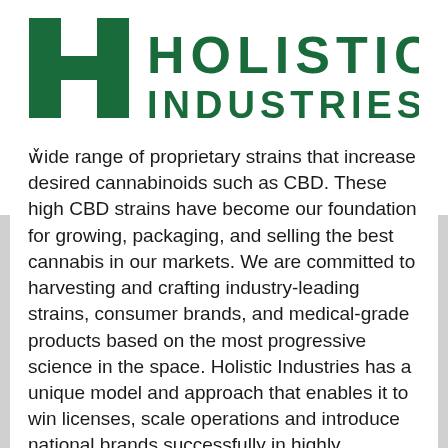[Figure (logo): Holistic Industries logo — green block-letter H icon on left, with 'HOLISTIC INDUSTRIES' in bold green uppercase letters on right]
wide range of proprietary strains that increase desired cannabinoids such as CBD. These high CBD strains have become our foundation for growing, packaging, and selling the best cannabis in our markets. We are committed to harvesting and crafting industry-leading strains, consumer brands, and medical-grade products based on the most progressive science in the space. Holistic Industries has a unique model and approach that enables it to win licenses, scale operations and introduce national brands successfully in highly regulated markets. The company has proven to be responsible stewards of capital since its inception by sourcing licenses on merit rather than simply acquiring them on the